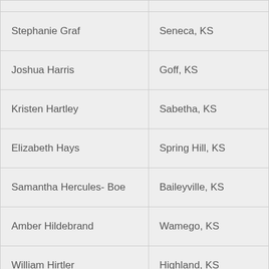| Name | Location |
| --- | --- |
| Stephanie Graf | Seneca, KS |
| Joshua Harris | Goff, KS |
| Kristen Hartley | Sabetha, KS |
| Elizabeth Hays | Spring Hill, KS |
| Samantha Hercules- Boe | Baileyville, KS |
| Amber Hildebrand | Wamego, KS |
| William Hirtler | Highland, KS |
| Wyatt Hoagland | Mc Louth, KS |
| David Hund | Paxico, KS |